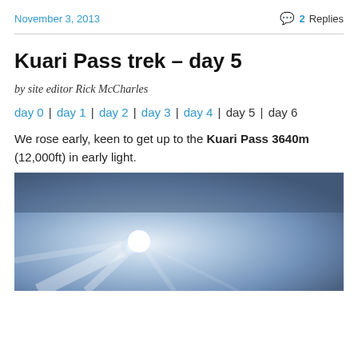November 3, 2013 | 2 Replies
Kuari Pass trek – day 5
by site editor Rick McCharles
day 0 | day 1 | day 2 | day 3 | day 4 | day 5 | day 6
We rose early, keen to get up to the Kuari Pass 3640m (12,000ft) in early light.
[Figure (photo): A photo showing bright light rays against a blue-grey sky or mountain scene, likely sunrise or sunlight through clouds/peaks.]